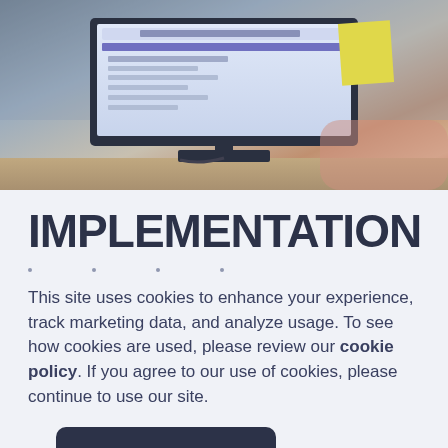[Figure (photo): Photo of a computer monitor on a desk with a sticky note attached, showing a website interface on screen, with blurred office background.]
IMPLEMENTATION
This site uses cookies to enhance your experience, track marketing data, and analyze usage. To see how cookies are used, please review our cookie policy. If you agree to our use of cookies, please continue to use our site.
ACCEPT